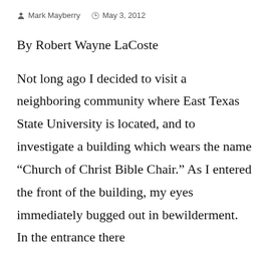Mark Mayberry   May 3, 2012
By Robert Wayne LaCoste
Not long ago I decided to visit a neighboring community where East Texas State University is located, and to investigate a building which wears the name “Church of Christ Bible Chair.” As I entered the front of the building, my eyes immediately bugged out in bewilderment. In the entrance there